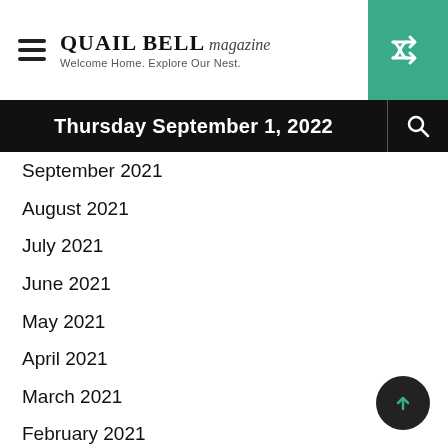QUAIL BELL magazine — Welcome Home. Explore Our Nest.
Thursday September 1, 2022
September 2021
August 2021
July 2021
June 2021
May 2021
April 2021
March 2021
February 2021
January 2021
December 2020
November 2020
October 2020
September 2020
August 2020
July 2020